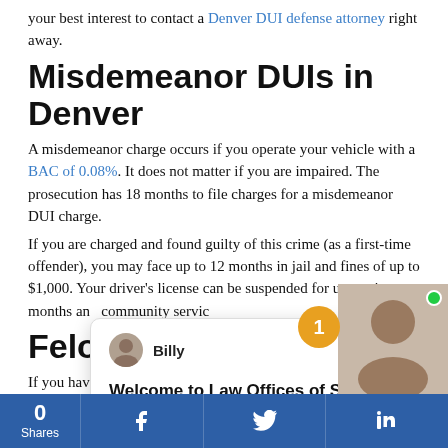your best interest to contact a Denver DUI defense attorney right away.
Misdemeanor DUIs in Denver
A misdemeanor charge occurs if you operate your vehicle with a BAC of 0.08%. It does not matter if you are impaired. The prosecution has 18 months to file charges for a misdemeanor DUI charge.
If you are charged and found guilty of this crime (as a first-time offender), you may face up to 12 months in jail and fines of up to $1,000. Your driver's license can be suspended for up to nine months and community service…
Felony DUI…
If you have three… another person, y…
Prosecutors have three years from the date of the incident to file this charge. If someone died in the incident, the period increases to five years.
Individuals who get a fourth DUI will face a Class 4…
which carries u… serious… injuries…
[Figure (screenshot): Chat popup from Billy at Law Offices of Steven J. Pisani saying 'Welcome to Law Offices of Steven J. Pisani! How can we help you?']
[Figure (infographic): Bottom social share bar with 0 Shares, Facebook, Twitter, LinkedIn buttons in blue]